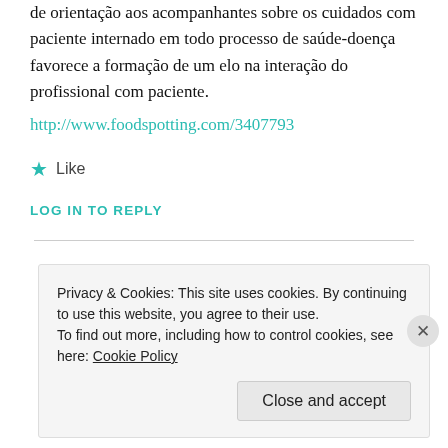de orientação aos acompanhantes sobre os cuidados com paciente internado em todo processo de saúde-doença favorece a formação de um elo na interação do profissional com paciente.
http://www.foodspotting.com/3407793
★ Like
LOG IN TO REPLY
Privacy & Cookies: This site uses cookies. By continuing to use this website, you agree to their use. To find out more, including how to control cookies, see here: Cookie Policy
Close and accept